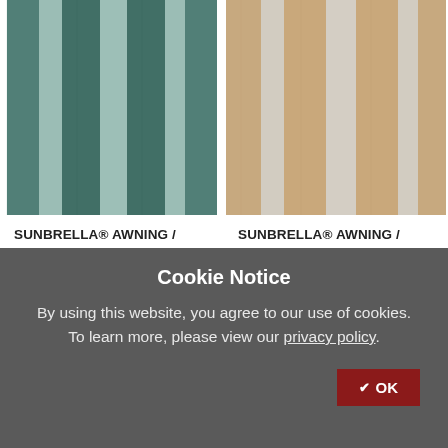[Figure (photo): Striped fabric swatch in teal/sage green tones — SUNBRELLA AWNING/MARINE 46" BEAUFORT SAGEBRUSH 4746-0000]
[Figure (photo): Striped fabric swatch in tan/graphite tones — SUNBRELLA AWNING/MARINE 46" BEAUFORT GRAPHITE 4747-0000]
SUNBRELLA® AWNING / MARINE 46" BEAUFORT SAGEBRUSH 4746-0000
Item #: 874738
SUNBRELLA® AWNING / MARINE 46" BEAUFORT GRAPHITE 4747-0000
Item #: 874739
Cookie Notice
By using this website, you agree to our use of cookies. To learn more, please view our privacy policy.